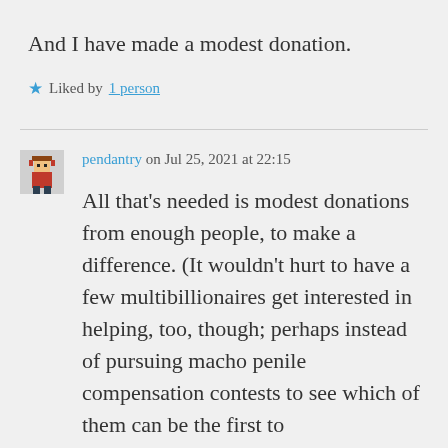And I have made a modest donation.
★ Liked by 1 person
pendantry on Jul 25, 2021 at 22:15
All that's needed is modest donations from enough people, to make a difference. (It wouldn't hurt to have a few multibillionaires get interested in helping, too, though; perhaps instead of pursuing macho penile compensation contests to see which of them can be the first to